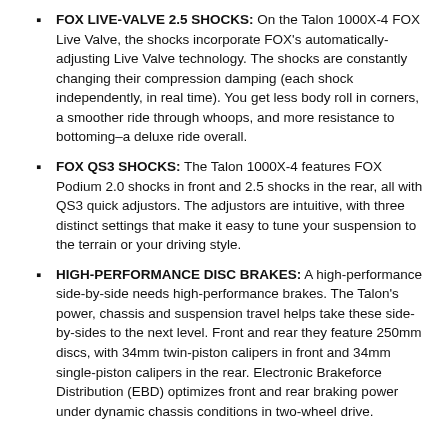FOX LIVE-VALVE 2.5 SHOCKS: On the Talon 1000X-4 FOX Live Valve, the shocks incorporate FOX's automatically-adjusting Live Valve technology. The shocks are constantly changing their compression damping (each shock independently, in real time). You get less body roll in corners, a smoother ride through whoops, and more resistance to bottoming–a deluxe ride overall.
FOX QS3 SHOCKS: The Talon 1000X-4 features FOX Podium 2.0 shocks in front and 2.5 shocks in the rear, all with QS3 quick adjustors. The adjustors are intuitive, with three distinct settings that make it easy to tune your suspension to the terrain or your driving style.
HIGH-PERFORMANCE DISC BRAKES: A high-performance side-by-side needs high-performance brakes. The Talon's power, chassis and suspension travel helps take these side-by-sides to the next level. Front and rear they feature 250mm discs, with 34mm twin-piston calipers in front and 34mm single-piston calipers in the rear. Electronic Brakeforce Distribution (EBD) optimizes front and rear braking power under dynamic chassis conditions in two-wheel drive.